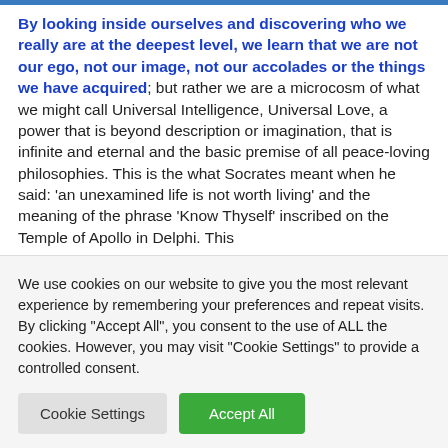By looking inside ourselves and discovering who we really are at the deepest level, we learn that we are not our ego, not our image, not our accolades or the things we have acquired; but rather we are a microcosm of what we might call Universal Intelligence, Universal Love, a power that is beyond description or imagination, that is infinite and eternal and the basic premise of all peace-loving philosophies. This is the what Socrates meant when he said: 'an unexamined life is not worth living' and the meaning of the phrase 'Know Thyself' inscribed on the Temple of Apollo in Delphi. This
We use cookies on our website to give you the most relevant experience by remembering your preferences and repeat visits. By clicking "Accept All", you consent to the use of ALL the cookies. However, you may visit "Cookie Settings" to provide a controlled consent.